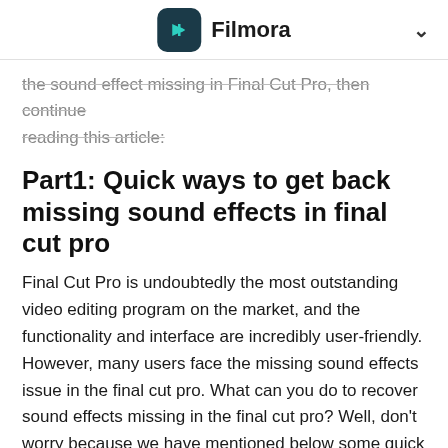Filmora
the sound effect missing in Final Cut Pro, then continue reading this article:
Part1: Quick ways to get back missing sound effects in final cut pro
Final Cut Pro is undoubtedly the most outstanding video editing program on the market, and the functionality and interface are incredibly user-friendly. However, many users face the missing sound effects issue in the final cut pro. What can you do to recover sound effects missing in the final cut pro? Well, don't worry because we have mentioned below some quick and easy ways to get back your missing sound effects: